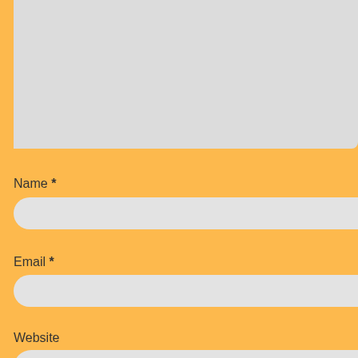[Figure (screenshot): Top portion of a comment/contact form showing a textarea (grey, top), followed by Name*, Email*, Website fields with rounded input bars, and three checkboxes: Save my name/email/website in browser for next time, Notify me of follow-up comments by email, Notify me of new posts by email. Orange background.]
Name *
Email *
Website
Save my name, email, and website in this browser for the next tim
Notify me of follow-up comments by email.
Notify me of new posts by email.